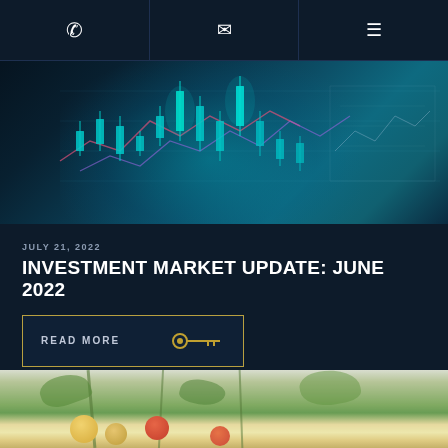Phone | Email | Menu navigation
[Figure (photo): Financial candlestick stock market chart with teal/cyan glowing candles on dark blue background]
JULY 21, 2022
INVESTMENT MARKET UPDATE: JUNE 2022
READ MORE
[Figure (photo): Close-up photo of tomato plant with cherry tomatoes in various stages of ripeness (green, yellow, orange, red)]